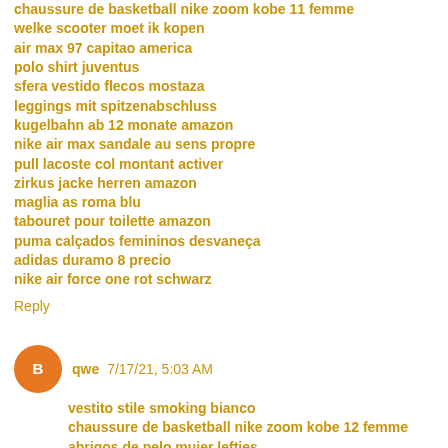chaussure de basketball nike zoom kobe 11 femme
welke scooter moet ik kopen
air max 97 capitao america
polo shirt juventus
sfera vestido flecos mostaza
leggings mit spitzenabschluss
kugelbahn ab 12 monate amazon
nike air max sandale au sens propre
pull lacoste col montant activer
zirkus jacke herren amazon
maglia as roma blu
tabouret pour toilette amazon
puma calçados femininos desvaneça
adidas duramo 8 precio
nike air force one rot schwarz
Reply
qwe 7/17/21, 5:03 AM
vestito stile smoking bianco
chaussure de basketball nike zoom kobe 12 femme
abrigos de pelo mujer lefties